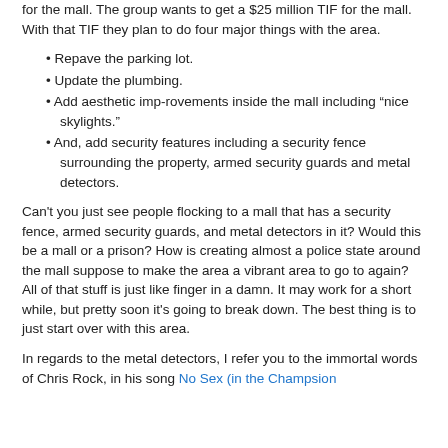for the mall. The group wants to get a $25 million TIF for the mall. With that TIF they plan to do four major things with the area.
Repave the parking lot.
Update the plumbing.
Add aesthetic imp-rovements inside the mall including “nice skylights.”
And, add security features including a security fence surrounding the property, armed security guards and metal detectors.
Can't you just see people flocking to a mall that has a security fence, armed security guards, and metal detectors in it? Would this be a mall or a prison? How is creating almost a police state around the mall suppose to make the area a vibrant area to go to again? All of that stuff is just like finger in a damn. It may work for a short while, but pretty soon it's going to break down. The best thing is to just start over with this area.
In regards to the metal detectors, I refer you to the immortal words of Chris Rock, in his song No Sex (in the Champsign...